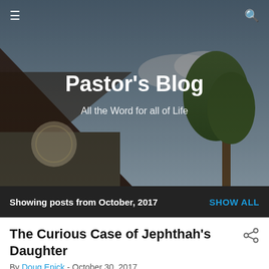[Figure (photo): Church building exterior with a dark triangular roof and a large tree, blurred background photo used as blog header image]
Pastor's Blog
All the Word for all of Life
Showing posts from October, 2017   SHOW ALL
The Curious Case of Jephthah's Daughter
By Doug Enick - October 30, 2017
[Figure (illustration): Classical painting of a person on horseback, warm earth tones]
What exactly did Jephthah do to his daughter? The usual —but by no means universal—view is that he literally sacrificed her (i.e., slit her throat and burned her on an